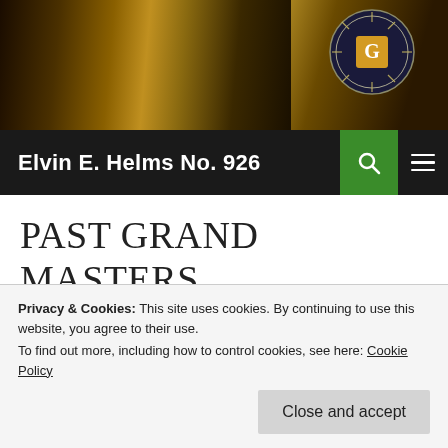[Figure (photo): Website header banner showing a gavel and book with a Masonic lodge emblem in the upper right corner]
Elvin E. Helms No. 926
PAST GRAND MASTERS
[Figure (photo): Portrait photo of a man with dark hair against a gray mottled background]
Privacy & Cookies: This site uses cookies. By continuing to use this website, you agree to their use.
To find out more, including how to control cookies, see here: Cookie Policy